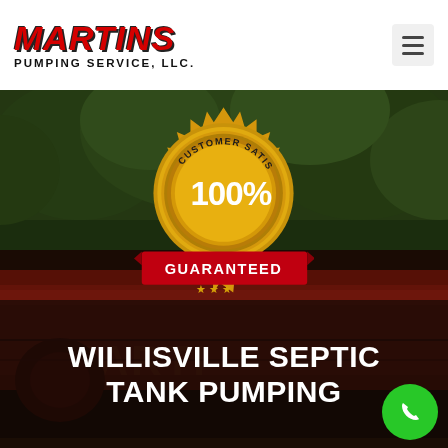[Figure (logo): Martins Pumping Service, LLC logo — red italic bold text 'MARTINS' above 'PUMPING SERVICE, LLC.' in black bold caps]
[Figure (photo): Hero background photo of a red septic pumping truck with green trees behind, 'Martins Pumping Service' text visible on truck, overlaid with dark semi-transparent layer and a gold/red Customer Satisfaction 100% Guaranteed badge seal in the upper center, a white bold title 'WILLISVILLE SEPTIC TANK PUMPING' at the bottom, and a green phone icon button at bottom right]
WILLISVILLE SEPTIC TANK PUMPING